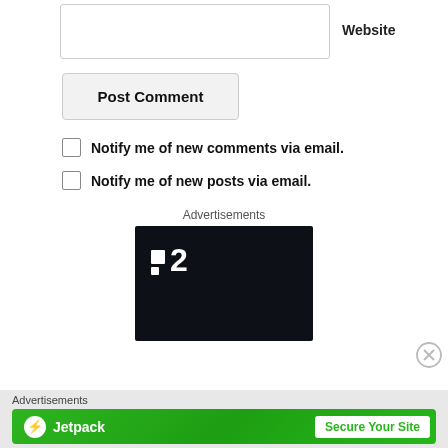[Figure (screenshot): Website input text field with label]
Website
[Figure (screenshot): Post Comment button]
Notify me of new comments via email.
Notify me of new posts via email.
Advertisements
[Figure (screenshot): Dark advertisement box with T2 logo]
Advertisements
[Figure (screenshot): Jetpack green banner advertisement with Secure Your Site button]